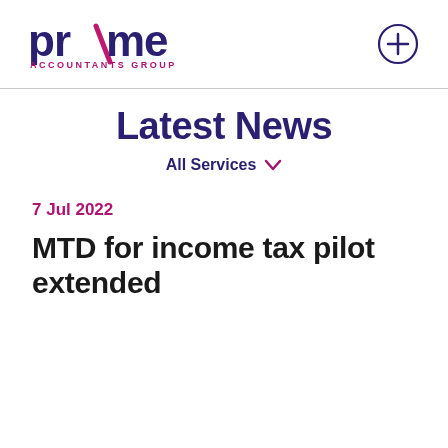[Figure (logo): Prime Accountants Group logo with stylized 'prime' text in dark purple and magenta slash, with 'ACCOUNTANTS GROUP' subtitle]
[Figure (other): Circle with plus sign icon in dark purple outline]
Latest News
All Services ∨
7 Jul 2022
MTD for income tax pilot extended